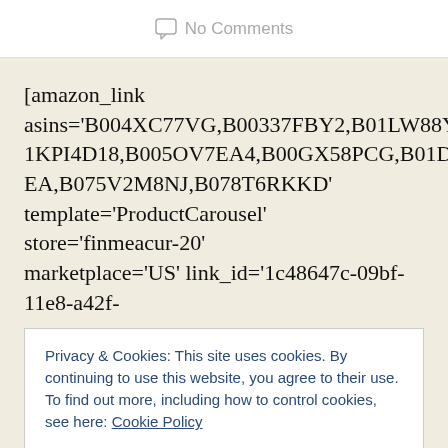No Comments
[amazon_link asins='B004XC77VG,B00337FBY2,B01LW88YUJ,B01KPI4D18,B005OV7EA4,B00GX58PCG,B01DCY0QEA,B075V2M8NJ,B078T6RKKD' template='ProductCarousel' store='finmeacur-20' marketplace='US' link_id='1c48647c-09bf-11e8-a42f-
Privacy & Cookies: This site uses cookies. By continuing to use this website, you agree to their use.
To find out more, including how to control cookies, see here: Cookie Policy

CLOSE AND ACCEPT
The collective decision taken by mankind over